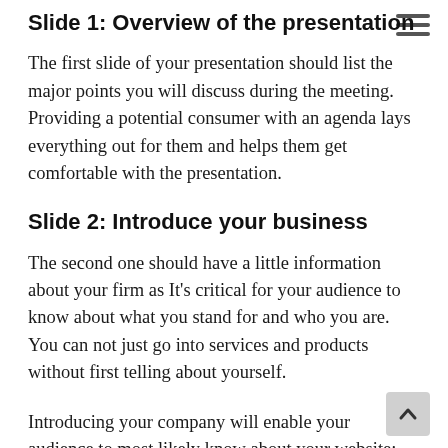Slide 1: Overview of the presentation
The first slide of your presentation should list the major points you will discuss during the meeting. Providing a potential consumer with an agenda lays everything out for them and helps them get comfortable with the presentation.
Slide 2: Introduce your business
The second one should have a little information about your firm as It's critical for your audience to know about what you stand for and who you are. You can not just go into services and products without first telling about yourself.
Introducing your company will enable your audience to most likely know about your website; however